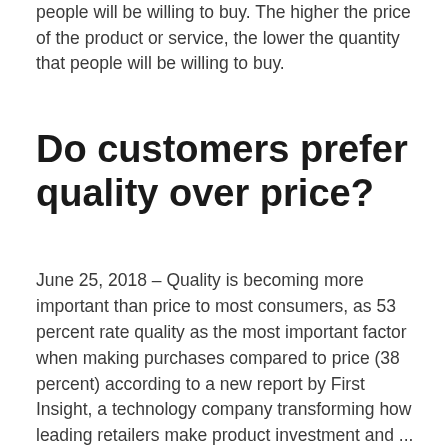people will be willing to buy. The higher the price of the product or service, the lower the quantity that people will be willing to buy.
Do customers prefer quality over price?
June 25, 2018 – Quality is becoming more important than price to most consumers, as 53 percent rate quality as the most important factor when making purchases compared to price (38 percent) according to a new report by First Insight, a technology company transforming how leading retailers make product investment and ...